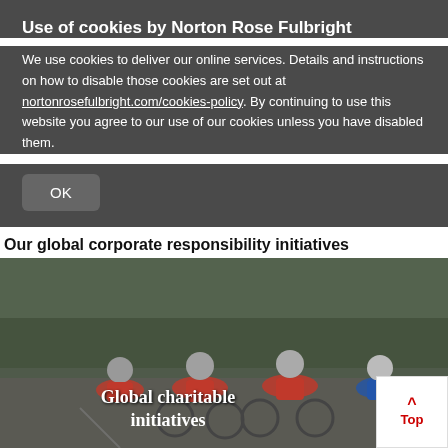Use of cookies by Norton Rose Fulbright
We use cookies to deliver our online services. Details and instructions on how to disable those cookies are set out at nortonrosefulbright.com/cookies-policy. By continuing to use this website you agree to our use of our cookies unless you have disabled them.
OK
Our global corporate responsibility initiatives
[Figure (photo): Group of cyclists wearing red vests riding on a road, with text overlay reading 'Global charitable initiatives']
LinkedIn, Twitter, Facebook, Print icons